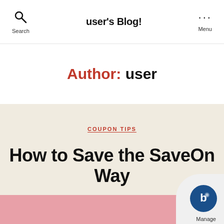user's Blog!
Author: user
COUPON TIPS
How to Save the SaveOn Way
By user  July 15, 2021  No Comm
[Figure (photo): Partial view of a blog post image with pink background and a manage badge overlay in bottom right corner]